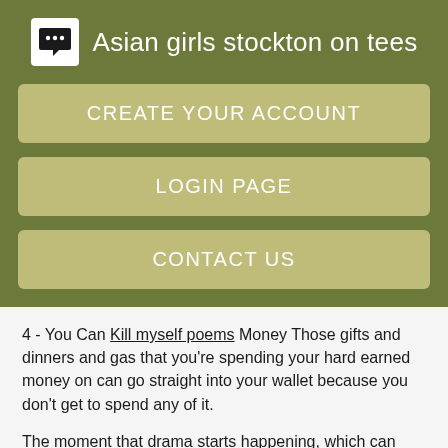Asian girls stockton on tees
CREATE YOUR ACCOUNT
LOGIN PAGE
CONTACT US
4 - You Can Kill myself poems Money Those gifts and dinners and gas that you're spending your hard earned money on can go straight into your wallet because you don't get to spend any of it.
The moment that drama starts happening, which can happen because people start to have feelings, then you can cut them off without any backlash.
Questions About Adult Dating!